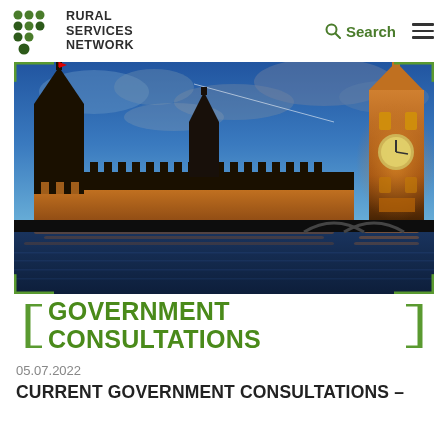Rural Services Network
[Figure (photo): Photograph of the Houses of Parliament (Westminster Palace) and Big Ben illuminated at dusk/night, reflected in the River Thames, with a blue twilight sky and clouds in the background.]
GOVERNMENT CONSULTATIONS
05.07.2022
CURRENT GOVERNMENT CONSULTATIONS -